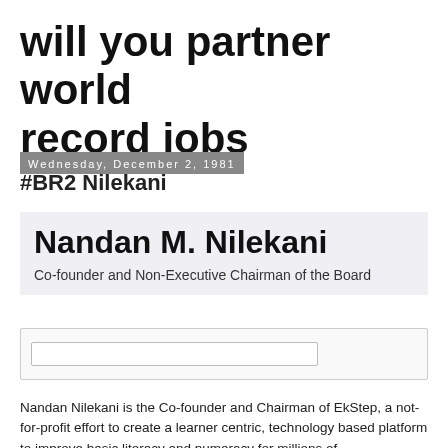will you partner world record jobs
Wednesday, December 2, 1981
#BR2 Nilekani
Nandan M. Nilekani
Co-founder and Non-Executive Chairman of the Board
Nandan Nilekani is the Co-founder and Chairman of EkStep, a not-for-profit effort to create a learner centric, technology based platform to improve basic literacy and numeracy for millions of